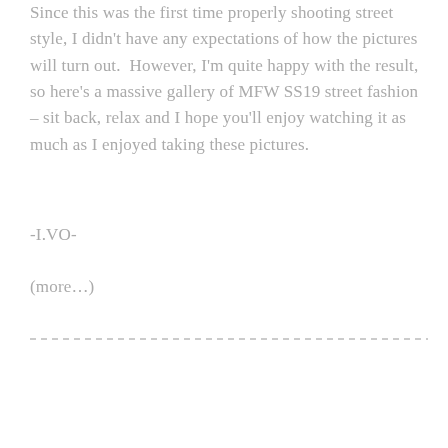Since this was the first time properly shooting street style, I didn't have any expectations of how the pictures will turn out. However, I'm quite happy with the result, so here's a massive gallery of MFW SS19 street fashion – sit back, relax and I hope you'll enjoy watching it as much as I enjoyed taking these pictures.
-I.VO-
(more...)